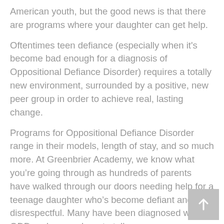American youth, but the good news is that there are programs where your daughter can get help.
Oftentimes teen defiance (especially when it's become bad enough for a diagnosis of Oppositional Defiance Disorder) requires a totally new environment, surrounded by a positive, new peer group in order to achieve real, lasting change.
Programs for Oppositional Defiance Disorder range in their models, length of stay, and so much more. At Greenbrier Academy, we know what you're going through as hundreds of parents have walked through our doors needing help for a teenage daughter who's become defiant and disrespectful. Many have been diagnosed with ODD and we are here to tell us